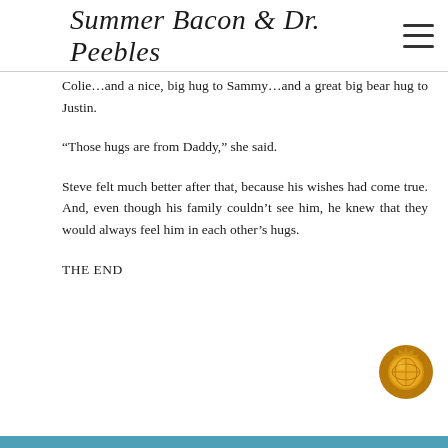Summer Bacon & Dr. Peebles
Colie…and a nice, big hug to Sammy…and a great big bear hug to Justin.
“Those hugs are from Daddy,” she said.
Steve felt much better after that, because his wishes had come true. And, even though his family couldn’t see him, he knew that they would always feel him in each other’s hugs.
THE END
[Figure (illustration): A gold/bronze circular seal or award badge in the bottom right corner of the page.]